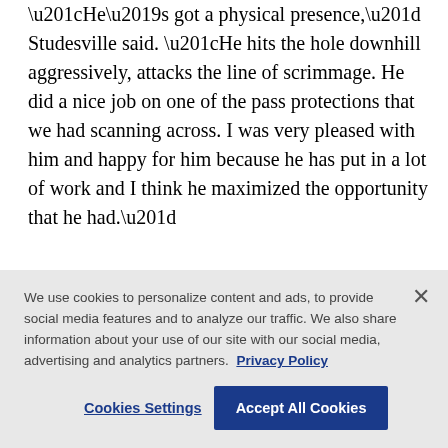“He’s got a physical presence,” Studesville said. “He hits the hole downhill aggressively, attacks the line of scrimmage. He did a nice job on one of the pass protections that we had scanning across. I was very pleased with him and happy for him because he has put in a lot of work and I think he maximized the opportunity that he had.”
More AP NFL coverage: https://www.com/hub/nfl
We use cookies to personalize content and ads, to provide social media features and to analyze our traffic. We also share information about your use of our site with our social media, advertising and analytics partners. Privacy Policy